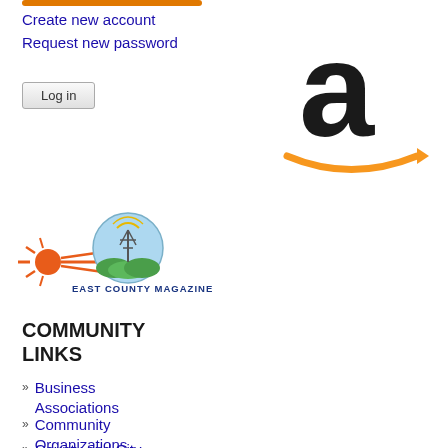Create new account
Request new password
Log in
[Figure (logo): Amazon logo: large lowercase letter 'a' in dark/black with the Amazon smile arrow in yellow/orange underneath]
[Figure (logo): East County Magazine logo: sun rays on left, circular badge with radio tower and green hills, text 'EAST COUNTY MAGAZINE' in blue and orange]
COMMUNITY LINKS
Business Associations
Community Organizations
County and City